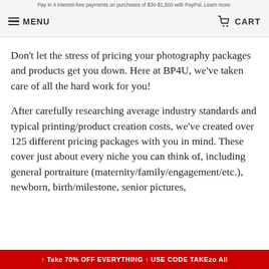Pay in 4 interest-free payments on purchases of $30-$1,500 with PayPal. Learn more.
MENU  CART
Don't let the stress of pricing your photography packages and products get you down. Here at BP4U, we've taken care of all the hard work for you!
After carefully researching average industry standards and typical printing/product creation costs, we've created over 125 different pricing packages with you in mind. These cover just about every niche you can think of, including general portraiture (maternity/family/engagement/etc.), newborn, birth/milestone, senior pictures,
↑ Take 70% OFF EVERYTHING ↑ USE CODE TAKEzo All